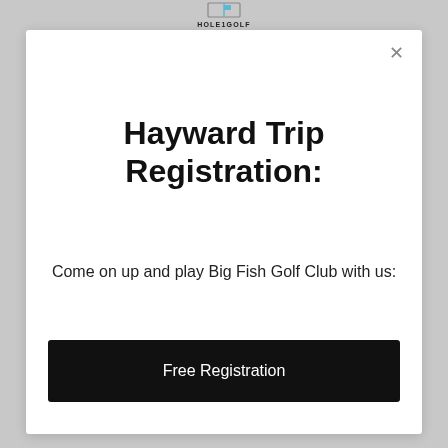[Figure (logo): HOLE1GOLF logo with golf flag icon above text]
Hayward Trip Registration:
Come on up and play Big Fish Golf Club with us:
Free Registration